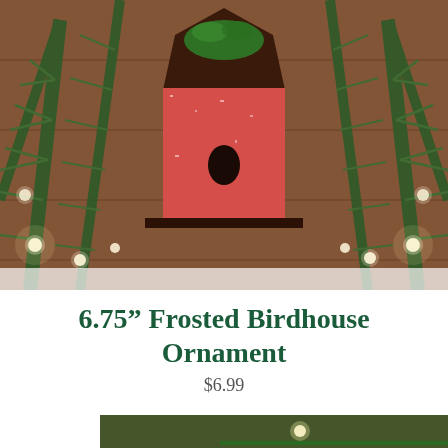[Figure (photo): A red frosted birdhouse ornament surrounded by green pine branches with warm white Christmas lights, placed on a wooden surface.]
6.75" Frosted Birdhouse Ornament
$6.99
[Figure (photo): Close-up of green Christmas tree branches with warm white lights and a green cord visible at the bottom, with a wooden background.]